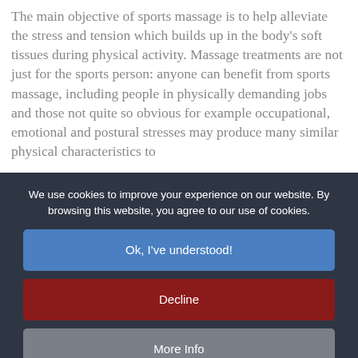The main objective of sports massage is to help alleviate the stress and tension which builds up in the body's soft tissues during physical activity. Massage treatments are not just for the sports person: anyone can benefit from sports massage, including people in physically demanding jobs and those not quite so obvious for example occupational, emotional and postural stresses may produce many similar physical characteristics to
We use cookies to improve your experience on our website. By browsing this website, you agree to our use of cookies.
Ok, I've understood!
Decline
More Info